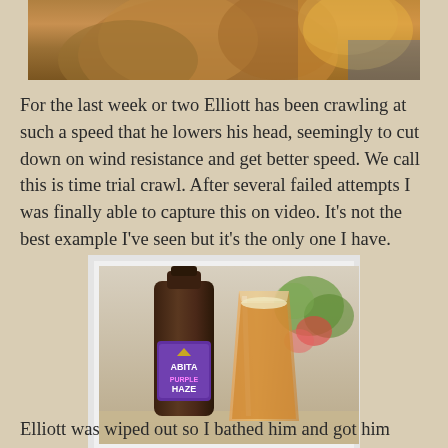[Figure (photo): Partial photo of a dog or animal, cropped at top of page, showing brown/tan fur]
For the last week or two Elliott has been crawling at such a speed that he lowers his head, seemingly to cut down on wind resistance and get better speed. We call this is time trial crawl. After several failed attempts I was finally able to capture this on video. It's not the best example I've seen but it's the only one I have.
[Figure (photo): Photo of Abita Purple Haze beer bottle next to a pint glass of beer, with flowers in background]
Elliott was wiped out so I bathed him and got him ready for